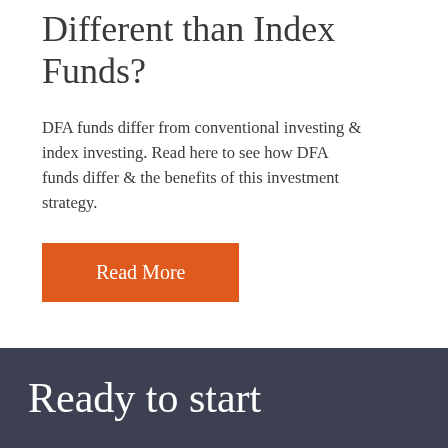Are DFA Funds Different than Index Funds?
DFA funds differ from conventional investing & index investing. Read here to see how DFA funds differ & the benefits of this investment strategy.
Read More
Ready to start